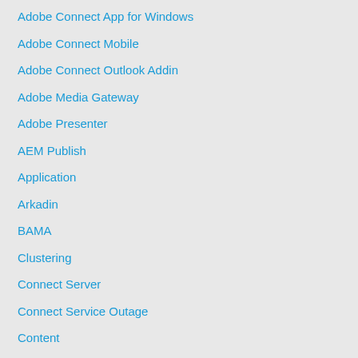Adobe Connect App for Windows
Adobe Connect Mobile
Adobe Connect Outlook Addin
Adobe Media Gateway
Adobe Presenter
AEM Publish
Application
Arkadin
BAMA
Clustering
Connect Server
Connect Service Outage
Content
Course and Curriculum
Database
Edge Server